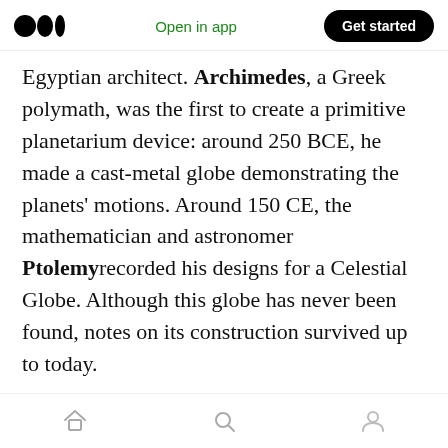Open in app | Get started
Egyptian architect. Archimedes, a Greek polymath, was the first to create a primitive planetarium device: around 250 BCE, he made a cast-metal globe demonstrating the planets' motions. Around 150 CE, the mathematician and astronomer Ptolemy recorded his designs for a Celestial Globe. Although this globe has never been found, notes on its construction survived up to today.
In the Middle ages, astronomical clocks displaying the positions of the Sun, Moon, zodiacal constellations, and major planets were
Home | Search | Profile